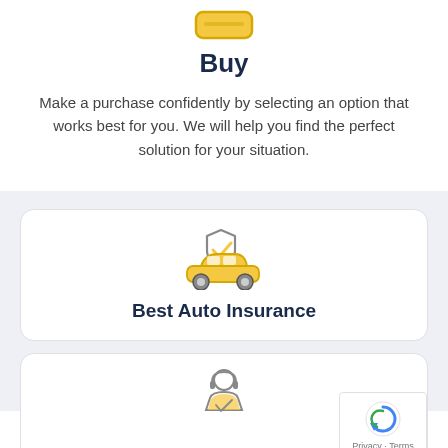[Figure (illustration): Yellow/gold rounded rectangle button icon at top]
Buy
Make a purchase confidently by selecting an option that works best for you. We will help you find the perfect solution for your situation.
[Figure (illustration): Car insurance icon: yellow car with a gray shield containing a yellow checkmark above it]
Best Auto Insurance
[Figure (illustration): Person with headset and shield icon, partially visible at bottom of page]